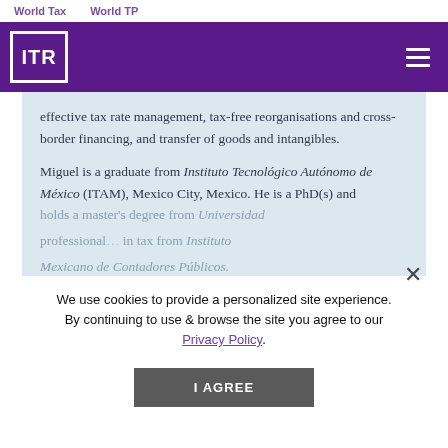World Tax    World TP
[Figure (logo): ITR logo — white square bracket outline with ITR text, on purple navigation bar with hamburger menu icon]
effective tax rate management, tax-free reorganisations and cross-border financing, and transfer of goods and intangibles.
Miguel is a graduate from Instituto Tecnológico Autónomo de México (ITAM), Mexico City, Mexico. He is a PhD(s) and holds a master's degree from Universidad ... professional ... in tax from Instituto Mexicano de Contadores Públicos.
We use cookies to provide a personalized site experience. By continuing to use & browse the site you agree to our Privacy Policy.
He has been invited to the World Business Dialogue held at the University of Cologne,